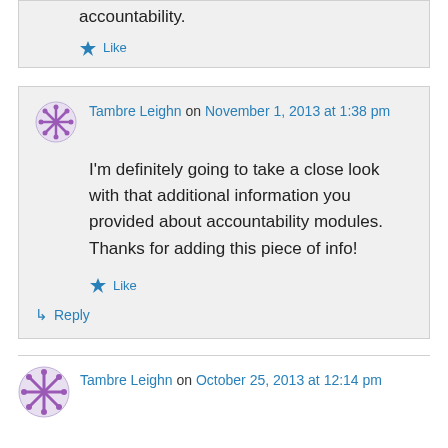accountability.
Like
Tambre Leighn on November 1, 2013 at 1:38 pm
I'm definitely going to take a close look with that additional information you provided about accountability modules. Thanks for adding this piece of info!
Like
Reply
Tambre Leighn on October 25, 2013 at 12:14 pm